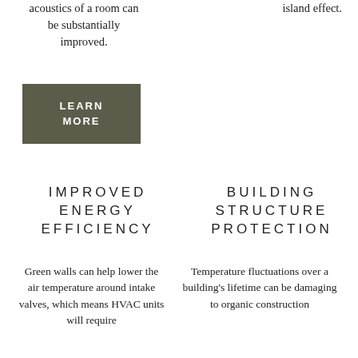acoustics of a room can be substantially improved.
island effect.
[Figure (other): Dark olive/khaki colored button with white uppercase bold text reading LEARN MORE]
IMPROVED ENERGY EFFICIENCY
BUILDING STRUCTURE PROTECTION
Green walls can help lower the air temperature around intake valves, which means HVAC units will require
Temperature fluctuations over a building's lifetime can be damaging to organic construction